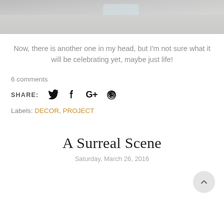[Figure (photo): Partial photo showing a glass object on a white wooden surface, cropped at top of page]
Now, there is another one in my head, but I'm not sure what it will be celebrating yet, maybe just life!
6 comments
SHARE: [Twitter] [Facebook] [Google+] [Pinterest]
Labels: DECOR, PROJECT
A Surreal Scene
Saturday, March 26, 2016